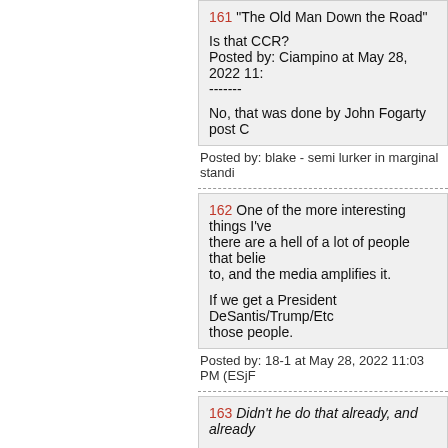161 "The Old Man Down the Road"

Is that CCR?
Posted by: Ciampino at May 28, 2022 11:
-------

No, that was done by John Fogarty post C
Posted by: blake - semi lurker in marginal standi
162 One of the more interesting things I've there are a hell of a lot of people that belie to, and the media amplifies it.

If we get a President DeSantis/Trump/Etc those people.
Posted by: 18-1 at May 28, 2022 11:03 PM (ESjF
163 Didn't he do that already, and already

Posted by: Splunge at May 28, 2022 10:54

That was the New York shooting fuck-up.

So many fuck-ups, so much time.